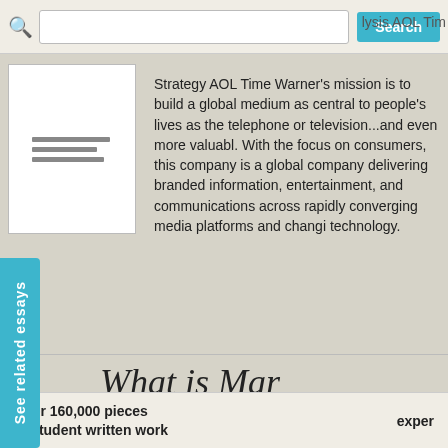lysis AOL Tim
[Figure (screenshot): Document thumbnail showing small text lines on white background]
Strategy AOL Time Warner's mission is to build a global medium as central to people's lives as the telephone or television...and even more valuable. With the focus on consumers, this company is a global company delivering branded information, entertainment, and communications across rapidly converging media platforms and changing technology.
See related essays
What is Mar
Over 160,000 pieces of student written work
exper